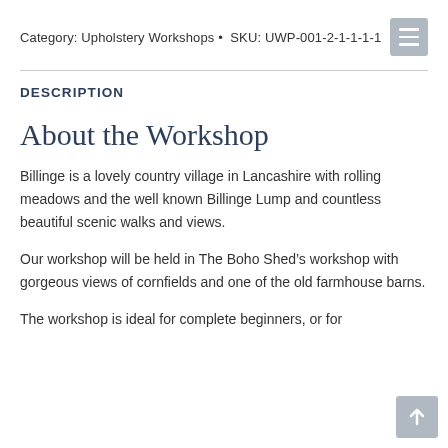Category: Upholstery Workshops • SKU: UWP-001-2-1-1-1-1
DESCRIPTION
About the Workshop
Billinge is a lovely country village in Lancashire with rolling meadows and the well known Billinge Lump and countless beautiful scenic walks and views.
Our workshop will be held in The Boho Shed's workshop with gorgeous views of cornfields and one of the old farmhouse barns.
The workshop is ideal for complete beginners, or for